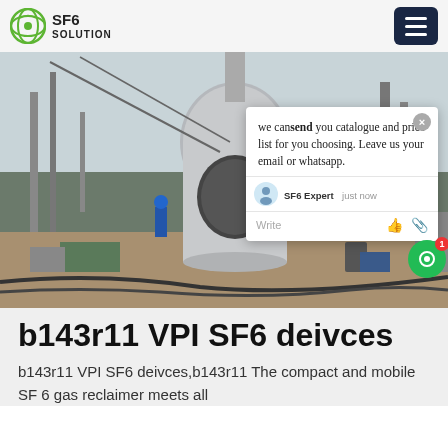SF6 SOLUTION
[Figure (photo): Industrial workers in blue coveralls and hard hats working on a large SF6 gas equipment installation at a power substation site. A large cylindrical grey vessel is visible in the center, with cranes and industrial structures in the background. A live chat popup overlay appears in the upper right of the image reading: 'we can send you catalogue and price list for you choosing. Leave us your email or whatsapp.' with SF6 Expert just now and Write options.]
b143r11 VPI SF6 deivces
b143r11 VPI SF6 deivces,b143r11 The compact and mobile SF 6 gas reclaimer meets all